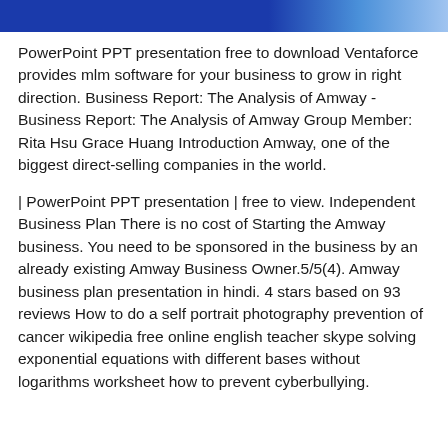[Figure (other): Blue gradient header banner]
PowerPoint PPT presentation free to download Ventaforce provides mlm software for your business to grow in right direction. Business Report: The Analysis of Amway - Business Report: The Analysis of Amway Group Member: Rita Hsu Grace Huang Introduction Amway, one of the biggest direct-selling companies in the world.
| PowerPoint PPT presentation | free to view. Independent Business Plan There is no cost of Starting the Amway business. You need to be sponsored in the business by an already existing Amway Business Owner.5/5(4). Amway business plan presentation in hindi. 4 stars based on 93 reviews How to do a self portrait photography prevention of cancer wikipedia free online english teacher skype solving exponential equations with different bases without logarithms worksheet how to prevent cyberbullying.